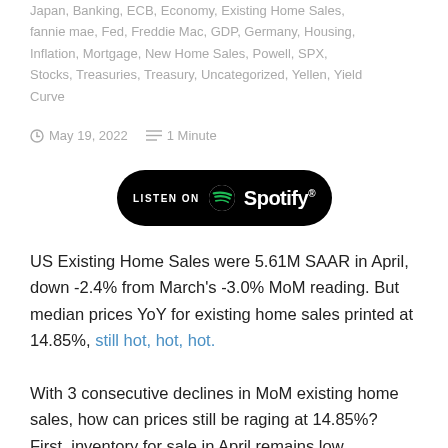Japan, Banking, ECB, Economy, Existing Home Sales, fannie mae, Fed, Freddie Mac, GDP, Germany, Housing, Inflation, Mortgage, New Home Sales, Powell, SPX, Stocks, Treasuries, Treasury, Uncategorized, Yellen, Yield Curve
May 19, 2022   1 Minute
[Figure (logo): Listen on Spotify button - black rounded rectangle with Spotify logo and white text]
US Existing Home Sales were 5.61M SAAR in April, down -2.4% from March's -3.0% MoM reading. But median prices YoY for existing home sales printed at 14.85%, still hot, hot, hot.
With 3 consecutive declines in MoM existing home sales, how can prices still be raging at 14.85%? First, inventory for sale in April remains low compared to